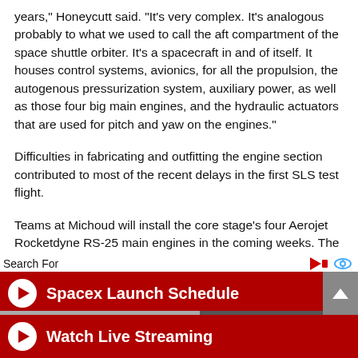years," Honeycutt said. "It's very complex. It's analogous probably to what we used to call the aft compartment of the space shuttle orbiter. It's a spacecraft in and of itself. It houses control systems, avionics, for all the propulsion, the autogenous pressurization system, auxiliary power, as well as those four big main engines, and the hydraulic actuators that are used for pitch and yaw on the engines."
Difficulties in fabricating and outfitting the engine section contributed to most of the recent delays in the first SLS test flight.
Teams at Michoud will install the core stage's four Aerojet Rocketdyne RS-25 main engines in the coming weeks. The engines are leftovers from the space shuttle program, and were designed to be reusable.
Search For
[Figure (screenshot): Ad banner row 1: dark red background with white play button circle and bold white text 'Spacex Launch Schedule', scroll up button on right]
[Figure (screenshot): Ad banner row 2: dark red background with white play button circle and bold white text 'Watch Live Streaming']